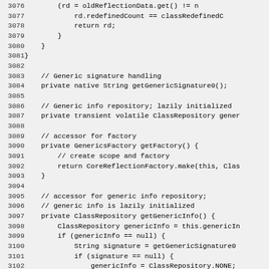Source code listing, lines 3076-3105, Java class reflection implementation